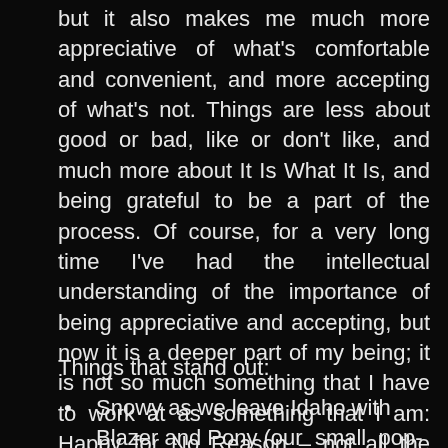but it also makes me much more appreciative of what's comfortable and convenient, and more accepting of what's not. Things are less about good or bad, like or don't like, and much more about It Is What It Is, and being grateful to be a part of the process. Of course, for a very long time I've had the intellectual understanding of the importance of being appreciative and accepting, but now it is a deeper part of my being; it is not so much something that I have to work at as something that I am: Happy for No Reason – not all the time every day, but on a more on-going basis than I've experienced before.
Things that stand out:
Snowy as we leave Idaho with Blazer and Pony (our small pop-up), our departure from